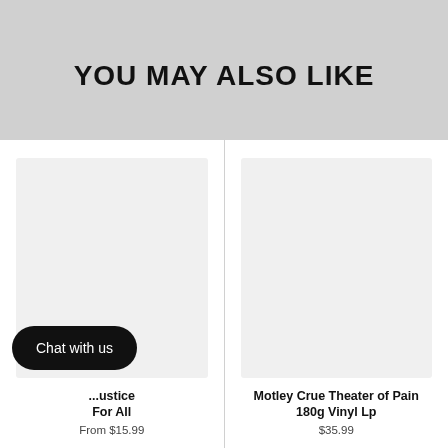YOU MAY ALSO LIKE
[Figure (other): Product image placeholder (light gray rectangle) for first product card]
...ustice For All
From $15.99
[Figure (other): Product image placeholder (light gray rectangle) for second product card]
Motley Crue Theater of Pain 180g Vinyl Lp
$35.99
Chat with us